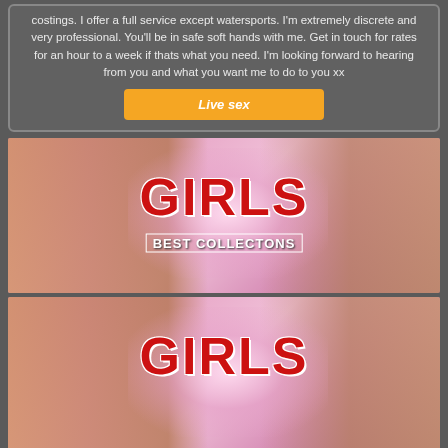costings. I offer a full service except watersports. I'm extremely discrete and very professional. You'll be in safe soft hands with me. Get in touch for rates for an hour to a week if thats what you need. I'm looking forward to hearing from you and what you want me to do to you xx
Live sex
[Figure (photo): Banner image with pink/flesh tones background showing text overlay 'GIRLS' in large red letters and 'BEST COLLECTONS' subtitle]
[Figure (photo): Second identical banner image with pink/flesh tones background showing text overlay 'GIRLS' in large red letters]